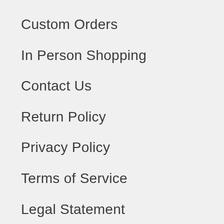Custom Orders
In Person Shopping
Contact Us
Return Policy
Privacy Policy
Terms of Service
Legal Statement